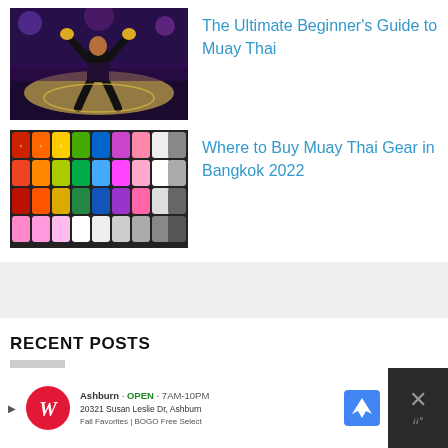[Figure (photo): Muay Thai fighter kneeling in the ring with arms raised, crowd in background]
The Ultimate Beginner's Guide to Muay Thai
[Figure (photo): Wall display of colorful Muay Thai boxing gloves in red, orange, yellow, green, blue, pink, and white]
Where to Buy Muay Thai Gear in Bangkok 2022
RECENT POSTS
[Figure (screenshot): Advertisement banner: Walgreens store ad showing address 20321 Susan Leslie Dr, Ashburn with Fall Favorites BOGO Free Select text and a map navigation icon]